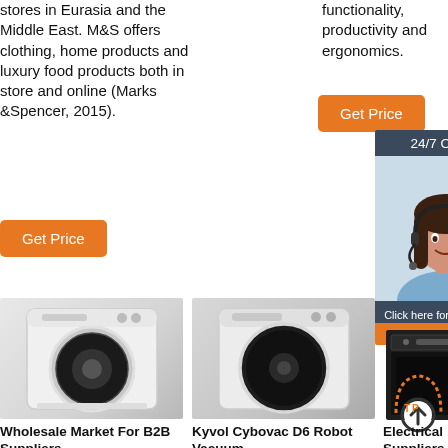stores in Eurasia and the Middle East. M&S offers clothing, home products and luxury food products both in store and online (Marks &Spencer, 2015).
[Figure (other): Orange 'Get Price' button (left column)]
functionality, productivity and ergonomics.
[Figure (other): Orange 'Get Price' button (right column)]
[Figure (other): 24/7 Online dark teal chat box with customer service agent photo and 'Click here for free chat! QUOTATION' button]
[Figure (photo): White front-loading washing machine product photo]
[Figure (photo): White front-loading washing machine with dark drum door product photo]
[Figure (photo): Black under-counter appliance product image]
Wholesale Market For B2B Suppliers,
Kyvol Cybovac D6 Robot Vacuum
Electrical Suppliers In Dubai